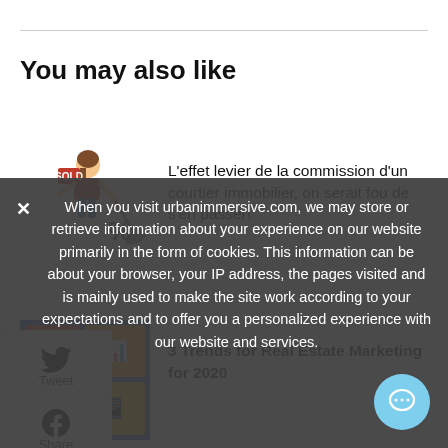You may also like
[Figure (illustration): Cartoon figure sweeping a percent sign with a broom]
L'effet levier de la commission d'un courtier immobilier, on serait fou de s'en passer!
[Figure (photo): Colorful real estate marketing collage image]
3 Trends for Real Estate Marketing for 2020
Tweet
Share
When you visit urbanimmersive.com, we may store or retrieve information about your experience on our website primarily in the form of cookies. This information can be about your browser, your IP address, the pages visited and is mainly used to make the site work according to your expectations and to offer you a personalized experience with our website and services.